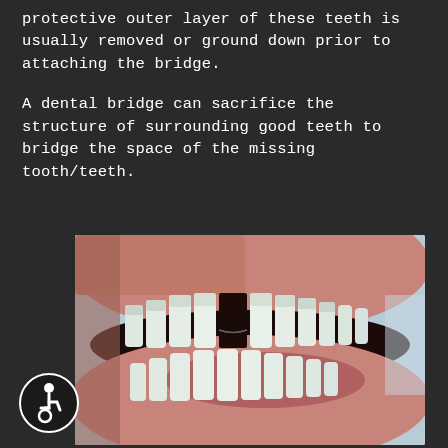protective outer layer of these teeth is usually removed or ground down prior to attaching the bridge.

A dental bridge can sacrifice the structure of surrounding good teeth to bridge the space of the missing tooth/teeth.
[Figure (illustration): 3D medical illustration showing an open human mouth from a side angle, displaying upper and lower teeth with a gap visible in the upper dental arch, demonstrating a missing tooth scenario relevant to dental bridge discussion.]